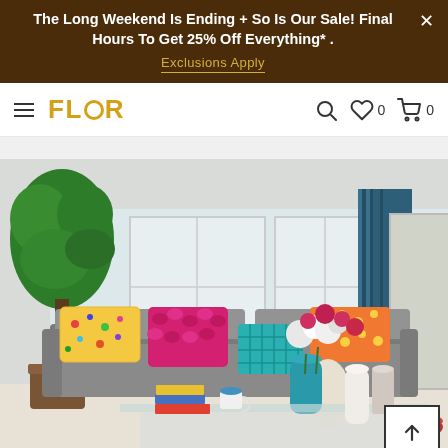The Long Weekend Is Ending + So Is Our Sale! Final Hours To Get 25% Off Everything* . Exclusions Apply
[Figure (logo): FLOR logo in gold/yellow with hamburger menu and navigation icons (search, wishlist, cart)]
[Figure (photo): Bright living room with gray sofa, colorful throw pillows (pink, multicolor, teal, orange), large plant, teal curtains, glass coffee table with flowers and books, white walls with large windows]